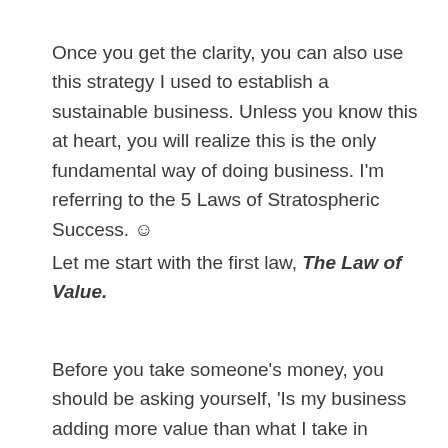Once you get the clarity, you can also use this strategy I used to establish a sustainable business. Unless you know this at heart, you will realize this is the only fundamental way of doing business. I'm referring to the 5 Laws of Stratospheric Success. ☺
Let me start with the first law, The Law of Value.
Before you take someone's money, you should be asking yourself, 'Is my business adding more value than what I take in payment? Does it serve my ideal market?' It might sound simple,